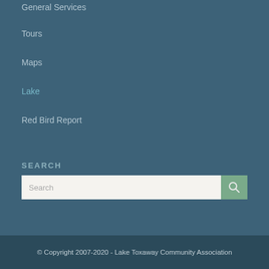General Services
Tours
Maps
Lake
Red Bird Report
SEARCH
[Figure (other): Search input field with placeholder text 'Search' and a green search button with magnifying glass icon]
© Copyright 2007-2020 - Lake Toxaway Community Association